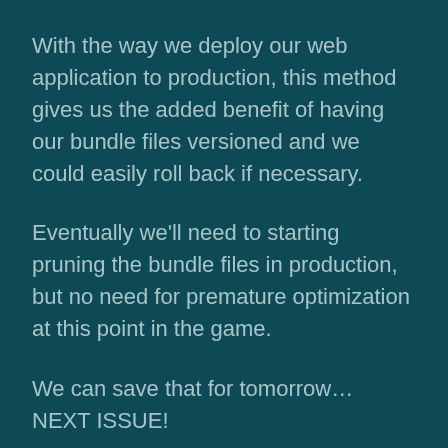With the way we deploy our web application to production, this method gives us the added benefit of having our bundle files versioned and we could easily roll back if necessary.
Eventually we'll need to starting pruning the bundle files in production, but no need for premature optimization at this point in the game.
We can save that for tomorrow… NEXT ISSUE!